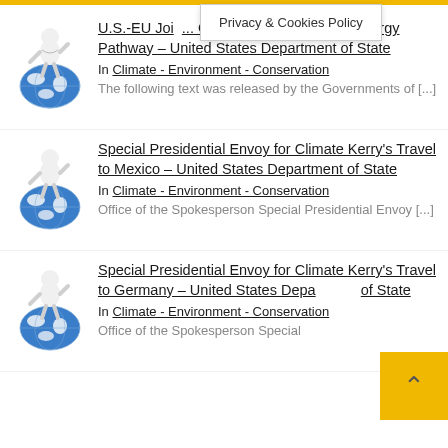Privacy & Cookies Policy
U.S.-EU Join... Global Methane Pledge Energy Pathway – United States Department of State
In Climate - Environment - Conservation
The following text was released by the Governments of [...]
Special Presidential Envoy for Climate Kerry's Travel to Mexico – United States Department of State
In Climate - Environment - Conservation
Office of the Spokesperson Special Presidential Envoy [...]
Special Presidential Envoy for Climate Kerry's Travel to Germany – United States Depa... of State
In Climate - Environment - Conservation
Office of the Spokesperson Special